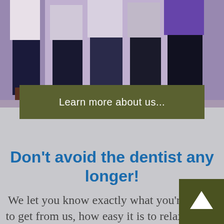[Figure (photo): Group of dental office staff/people seated together, wearing purple and dark clothing, photographed from waist down showing legs and feet]
Learn more about us...
Don't avoid the dentist any longer!
We let you know exactly what you're going to get from us, how easy it is to relax and be